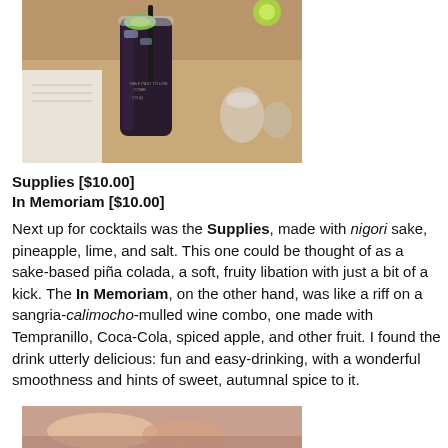[Figure (photo): A tall dark cocktail drink in a clear glass with a black straw and garnish, sitting on a wooden table with other items in the background.]
Supplies [$10.00]
In Memoriam [$10.00]
Next up for cocktails was the Supplies, made with nigori sake, pineapple, lime, and salt. This one could be thought of as a sake-based piña colada, a soft, fruity libation with just a bit of a kick. The In Memoriam, on the other hand, was like a riff on a sangria-calimocho-mulled wine combo, one made with Tempranillo, Coca-Cola, spiced apple, and other fruit. I found the drink utterly delicious: fun and easy-drinking, with a wonderful smoothness and hints of sweet, autumnal spice to it.
[Figure (photo): Partial view of food items at the bottom of the page.]